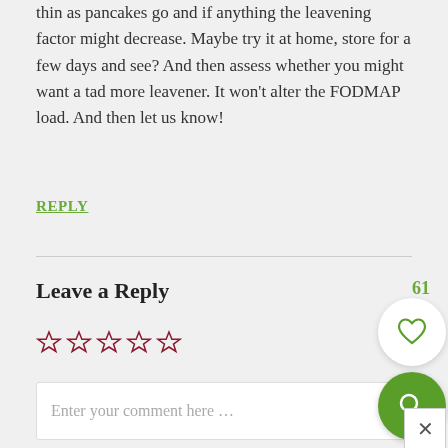thin as pancakes go and if anything the leavening factor might decrease. Maybe try it at home, store for a few days and see? And then assess whether you might want a tad more leavener. It won't alter the FODMAP load. And then let us know!
REPLY
Leave a Reply
[Figure (other): Five empty star rating icons in dark red/maroon color]
Enter your comment here ...
[Figure (other): Like/heart button circle with count 61]
[Figure (other): Green search icon circle button]
[Figure (other): Close/X button]